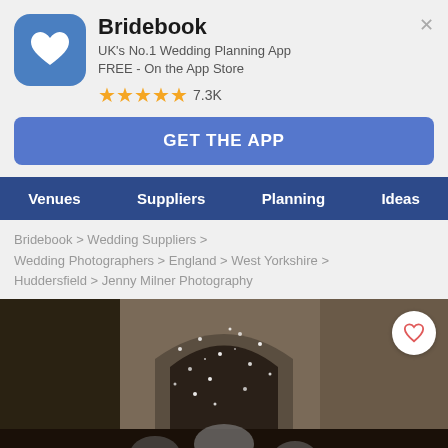Bridebook
UK's No.1 Wedding Planning App
FREE - On the App Store
★★★★★ 7.3K
GET THE APP
Venues  Suppliers  Planning  Ideas
Bridebook > Wedding Suppliers > Wedding Photographers > England > West Yorkshire > Huddersfield > Jenny Milner Photography
[Figure (photo): Wedding photo showing a couple exiting a stone church under a shower of confetti, surrounded by guests]